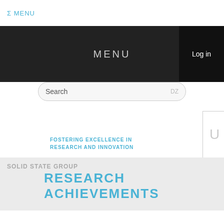Σ MENU
MENU
Log in
Search
FOSTERING EXCELLENCE IN RESEARCH AND INNOVATION
SOLID STATE GROUP
RESEARCH ACHIEVEMENTS